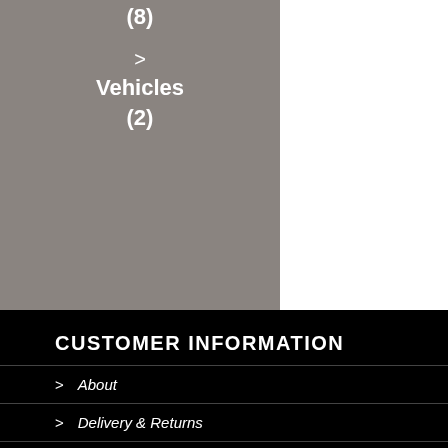(8)
› Vehicles (2)
CUSTOMER INFORMATION
› About
› Delivery & Returns
› Frequently Asked Questions
› Privacy Notice
› Sitemap
› Useful Links
[Figure (logo): reCAPTCHA badge with Privacy - Terms text]